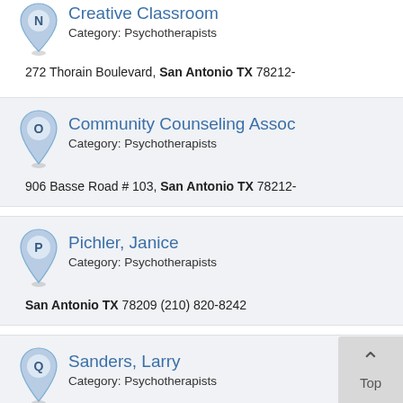Creative Classroom
Category: Psychotherapists
272 Thorain Boulevard, San Antonio TX 78212-
Community Counseling Assoc
Category: Psychotherapists
906 Basse Road # 103, San Antonio TX 78212-
Pichler, Janice
Category: Psychotherapists
San Antonio TX 78209 (210) 820-8242
Sanders, Larry
Category: Psychotherapists
103 Tanglebriar Lane, San Antonio T